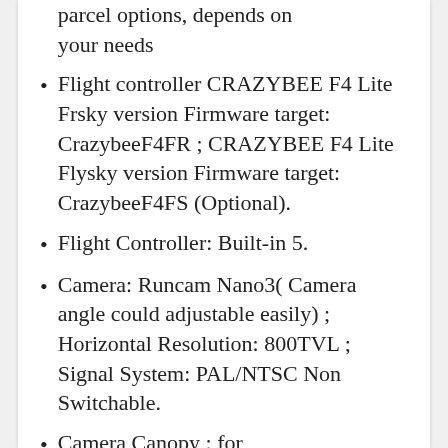parcel options, depends on your needs
Flight controller CRAZYBEE F4 Lite Frsky version Firmware target: CrazybeeF4FR ; CRAZYBEE F4 Lite Flysky version Firmware target: CrazybeeF4FS (Optional).
Flight Controller: Built-in 5.
Camera: Runcam Nano3( Camera angle could adjustable easily) ; Horizontal Resolution: 800TVL ; Signal System: PAL/NTSC Non Switchable.
Camera Canopy: for